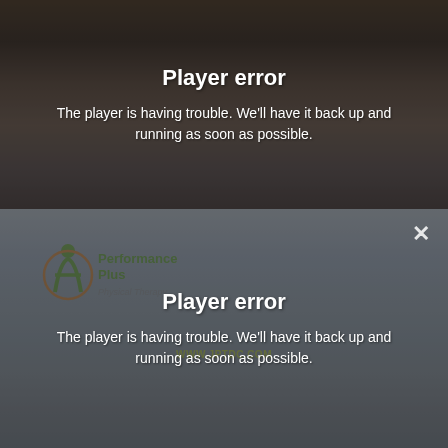[Figure (screenshot): Video player error screen (top). Dark brownish blurred background showing a person. Overlay text says 'Player error' and 'The player is having trouble. We'll have it back up and running as soon as possible.']
[Figure (screenshot): Video player error screen (bottom) with a close X button in the top-right. Gray blurred background with a partially visible logo reading 'Performance Plus Physical Therapy' and watermark 'WWW.JPTDC.COM'. Overlay text says 'Player error' and 'The player is having trouble. We'll have it back up and running as soon as possible.']